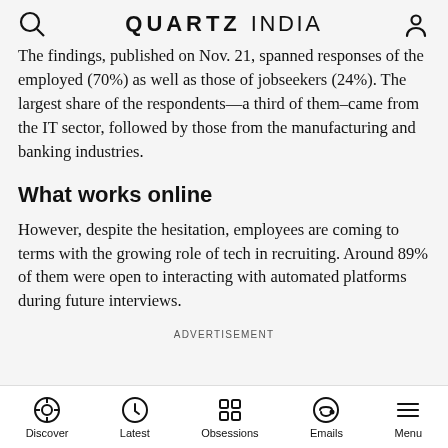QUARTZ INDIA
The findings, published on Nov. 21, spanned responses of the employed (70%) as well as those of jobseekers (24%). The largest share of the respondents—a third of them–came from the IT sector, followed by those from the manufacturing and banking industries.
What works online
However, despite the hesitation, employees are coming to terms with the growing role of tech in recruiting. Around 89% of them were open to interacting with automated platforms during future interviews.
ADVERTISEMENT
Discover | Latest | Obsessions | Emails | Menu